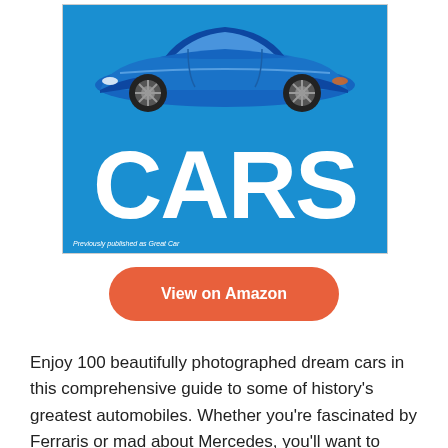[Figure (illustration): Book cover for 'CARS' — blue background with a blue supercar (Bugatti Veyron-style) at the top, large white bold text 'CARS' in the center, and italic text 'Previously published as Great Car' at bottom left.]
View on Amazon
Enjoy 100 beautifully photographed dream cars in this comprehensive guide to some of history's greatest automobiles. Whether you're fascinated by Ferraris or mad about Mercedes, you'll want to delve into this